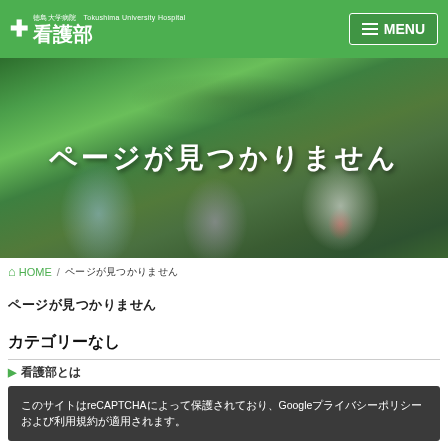徳島大学病院 看護部 Tokushima University Hospital | MENU
[Figure (photo): Hero banner showing toy figurines among green plants with overlaid white Japanese text reading ページが見つかりません (Page not found)]
🏠 HOME / ページが見つかりません
ページが見つかりません
カテゴリーなし
看護部とは
このサイトはreCAPTCHAによって保護されており、Googleプライバシーポリシーおよび利用規約が適用されます。